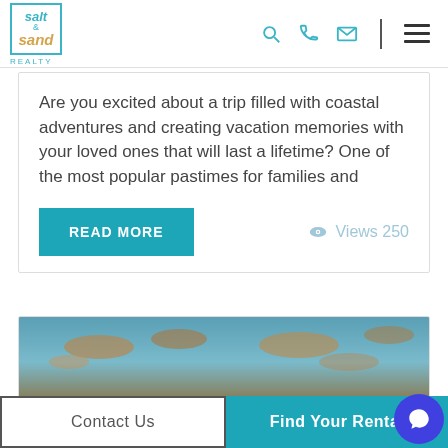Salt & Sand Realty — navigation header with search, phone, email, and menu icons
Are you excited about a trip filled with coastal adventures and creating vacation memories with your loved ones that will last a lifetime? One of the most popular pastimes for families and
READ MORE
Views 250
[Figure (photo): Coastal/beach sunset sky photo with orange clouds and teal sky tones]
Contact Us
Find Your Rental